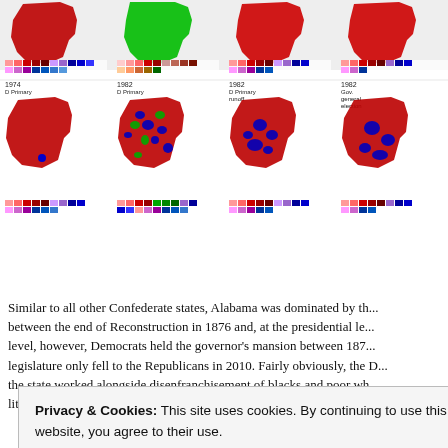[Figure (map): Two rows of Alabama county-level election maps showing Democratic primary and general election results from 1974 and 1982, with color-coded legends below each map showing candidate vote share percentages.]
Similar to all other Confederate states, Alabama was dominated by th... between the end of Reconstruction in 1876 and, at the presidential le... level, however, Democrats held the governor's mansion between 187... legislature only fell to the Republicans in 2010. Fairly obviously, the D... the state worked alongside disenfranchisement of blacks and poor wh... literacy tests and documents such as the 1901 Alabama Constitution.
Privacy & Cookies: This site uses cookies. By continuing to use this website, you agree to their use.
To find out more, including how to control cookies, see here: Cookie Policy
Close and accept